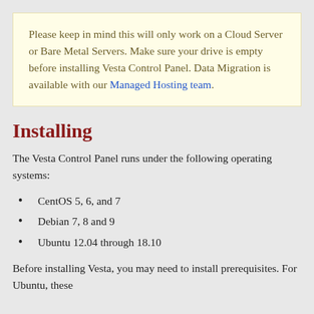Please keep in mind this will only work on a Cloud Server or Bare Metal Servers. Make sure your drive is empty before installing Vesta Control Panel. Data Migration is available with our Managed Hosting team.
Installing
The Vesta Control Panel runs under the following operating systems:
CentOS 5, 6, and 7
Debian 7, 8 and 9
Ubuntu 12.04 through 18.10
Before installing Vesta, you may need to install prerequisites. For Ubuntu, these